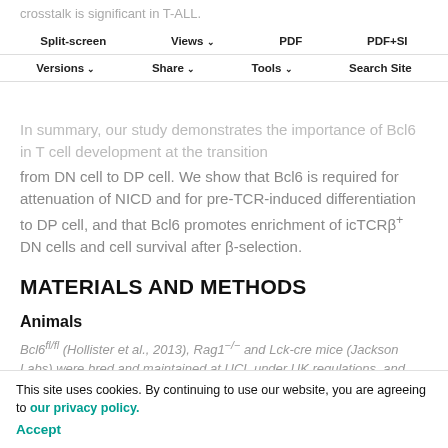crosstalk is significant in T-ALL.
Split-screen | Views | PDF | PDF+SI | Versions | Share | Tools | Search Site
In summary, our study demonstrates the importance of Bcl6 in T cell development at the transition from DN cell to DP cell. We show that Bcl6 is required for attenuation of NICD and for pre-TCR-induced differentiation to DP cell, and that Bcl6 promotes enrichment of icTCRβ⁺ DN cells and cell survival after β-selection.
MATERIALS AND METHODS
Animals
Bcl6fl/fl (Hollister et al., 2013), Rag1−/− and Lck-cre mice (Jackson Labs) were bred and maintained at UCL under UK regulations, and adults analysed at 4–6 weeks. Hydrocortisone treatment was as previously described
This site uses cookies. By continuing to use our website, you are agreeing to our privacy policy. Accept